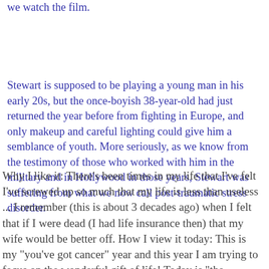we watch the film.
Stewart is supposed to be playing a young man in his early 20s, but the once-boyish 38-year-old had just returned the year before from fighting in Europe, and only makeup and careful lighting could give him a semblance of youth. More seriously, as we know from the testimony of those who worked with him in the military and in Hollywood in those years, Stewart was suffering from what we now call post-traumatic stress disorder.
Why I like it: There's been times in my life that I've felt I've screwed up so much that my life is less than useless ... I remember (this is about 3 decades ago) when I felt that if I were dead (I had life insurance then) that my wife would be better off. How I view it today: This is my "you've got cancer" year and this year I am trying to focus on the wonderful gift of life! Today is "the present" and today is a gift of God. The first article has some nice YouTube videos embedded. Here is the famous dance scene: